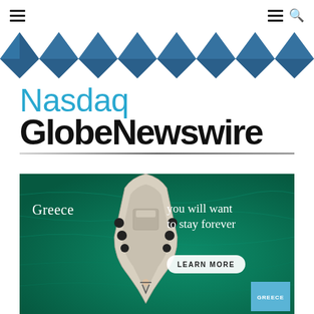Nasdaq GlobeNewswire navigation bar
[Figure (logo): Nasdaq GlobeNewswire logo with triangle pattern banner above and brand name text below]
[Figure (photo): Greece tourism advertisement showing aerial view of a luxury yacht on turquoise water with text 'Greece you will want to stay forever', a LEARN MORE button, and a GREECE logo box in the bottom right corner]